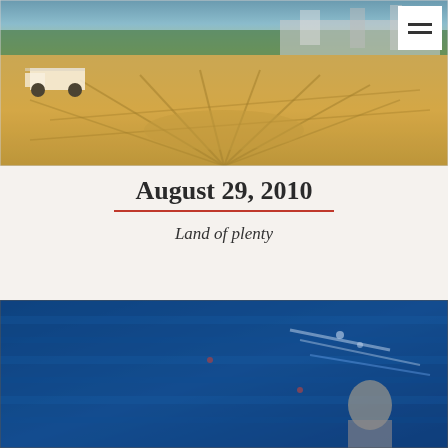[Figure (photo): Aerial or wide-angle photo of a dirt construction lot or cleared land with tire tracks, a white pickup truck on the left, commercial businesses and trees visible in the background under a dusky sky. A hamburger/menu icon button is in the top right corner.]
August 29, 2010
Land of plenty
[Figure (photo): Blue-toned textured image resembling a crowded stadium or mosaic with a person visible in the lower right area, appearing to be a digitally processed or artistic photograph with heavy blue grain/static effect.]